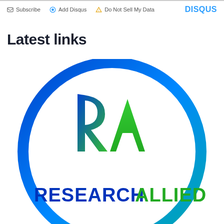Subscribe   Add Disqus   Do Not Sell My Data   DISQUS
Latest links
[Figure (logo): Research Allied logo inside a blue circular ring. The logo shows stylized 'RA' letters in blue and green gradient, with text 'RESEARCH ALLIED' at the bottom in blue and green.]